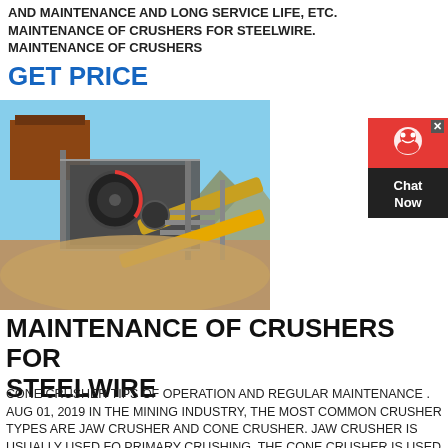AND MAINTENANCE AND LONG SERVICE LIFE, ETC. MAINTENANCE OF CRUSHERS FOR STEELWIRE. MAINTENANCE OF CRUSHERS
GET PRICE
[Figure (photo): Industrial jaw crusher / stone crushing plant at a mining site with blue sky background]
[Figure (infographic): Chat Now widget with red background and chat icon]
MAINTENANCE OF CRUSHERS FOR STEELWIRE
CONE CRUSHER TIPS OF OPERATION AND REGULAR MAINTENANCE . AUG 01, 2019 IN THE MINING INDUSTRY, THE MOST COMMON CRUSHER TYPES ARE JAW CRUSHER AND CONE CRUSHER. JAW CRUSHER IS USUALLY USED FO PRIMARY CRUSHING. THE CONE CRUSHER IS USED FOR